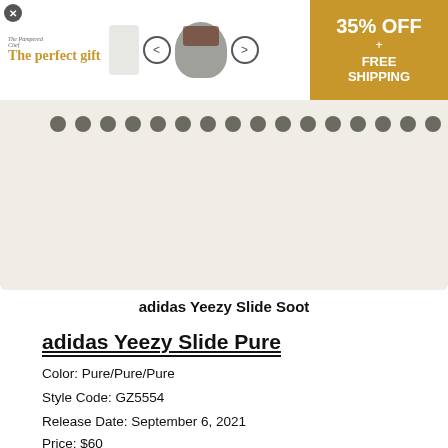[Figure (screenshot): Advertisement banner for The Pampered Chef showing 'The perfect gift' with cookware images, navigation arrows, and 35% OFF + FREE SHIPPING offer on gold background]
[Figure (photo): Top portion of adidas Yeezy Slide Soot product image showing shoe sole dots on cream/beige background]
adidas Yeezy Slide Soot
adidas Yeezy Slide Pure
Color: Pure/Pure/Pure
Style Code: GZ5554
Release Date: September 6, 2021
Price: $60
[Figure (photo): Bottom portion showing adidas Yeezy Slide Pure product image on cream/beige background]